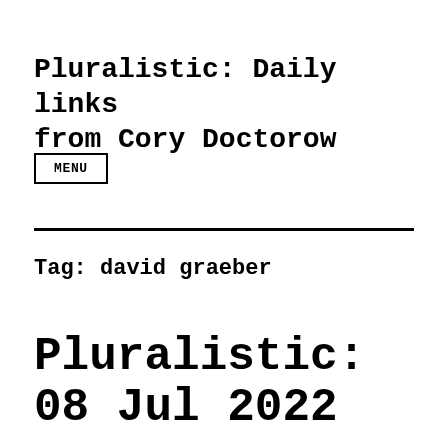Pluralistic: Daily links from Cory Doctorow
MENU
Tag: david graeber
Pluralistic: 08 Jul 2022